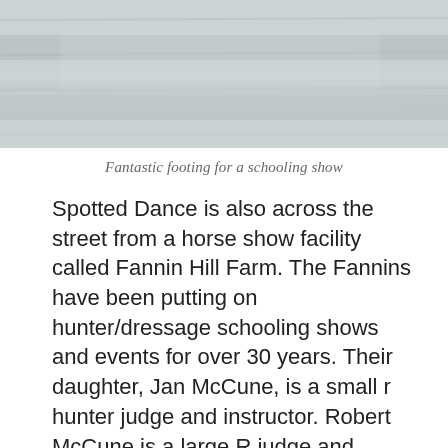[Figure (photo): Top portion of a photo showing a sandy or gravelly arena footing surface, gray-toned, partially cropped at the top of the page.]
Fantastic footing for a schooling show
Spotted Dance is also across the street from a horse show facility called Fannin Hill Farm. The Fannins have been putting on hunter/dressage schooling shows and events for over 30 years. Their daughter, Jan McCune, is a small r hunter judge and instructor. Robert McCune is a large R judge and regularly judges at the World Equestrian Center in Wilmington OH. He grew up in Parma. They have two lovely